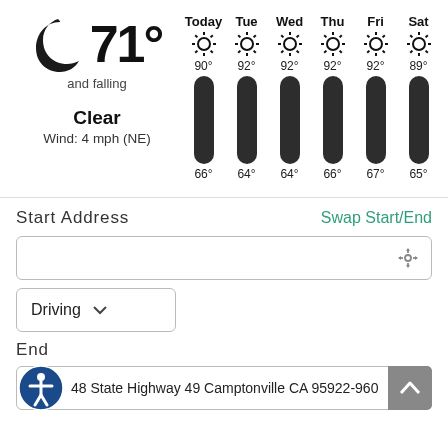[Figure (infographic): Current weather: crescent moon icon, 71° and falling, Clear, Wind: 4 mph (NE). 6-day forecast showing Today through Sat with sun icons, high/low temps and thermometer bars. Today: 90°/66°, Tue: 92°/64°, Wed: 92°/64°, Thu: 92°/66°, Fri: 92°/67°, Sat: 89°/65°]
Start Address
Swap Start/End
Driving
End
48 State Highway 49 Camptonville CA 95922-960